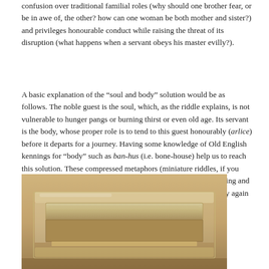confusion over traditional familial roles (why should one brother fear, or be in awe of, the other? how can one woman be both mother and sister?) and privileges honourable conduct while raising the threat of its disruption (what happens when a servant obeys his master evilly?).
A basic explanation of the “soul and body” solution would be as follows. The noble guest is the soul, which, as the riddle explains, is not vulnerable to hunger pangs or burning thirst or even old age. Its servant is the body, whose proper role is to tend to this guest honourably (arlice) before it departs for a journey. Having some knowledge of Old English kennings for “body” such as ban-hus (i.e. bone-house) help us to reach this solution. These compressed metaphors (miniature riddles, if you like) suggest that human bodies are temporary dwellings, sheltering and safeguarding something dear that must nevertheless be on its way again before long.
[Figure (photo): A photograph of what appears to be an ancient stone or clay tablet/artifact displayed in a clear acrylic or glass display case, viewed from the side. The object is rectangular and flat, resting on a light-colored support inside the case.]